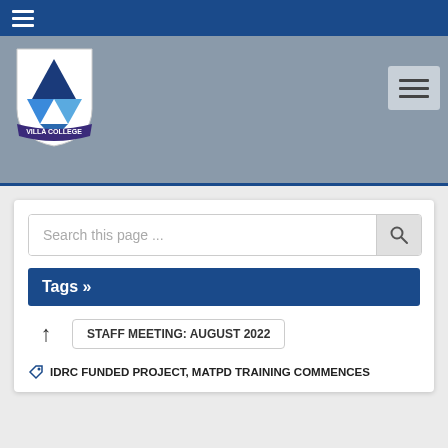Villa College website header navigation
[Figure (logo): Villa College shield logo with blue triangles and purple/navy banner reading VILLA COLLEGE]
Search this page ...
Tags »
↑ STAFF MEETING: AUGUST 2022
IDRC FUNDED PROJECT, MATPD TRAINING COMMENCES